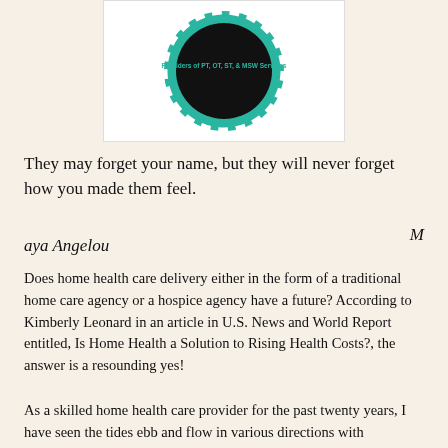[Figure (logo): Circular logo with teal/green ring and dashed white marks on black circle center, text 'Providers of PT, OT, ST, & MSW Services' in teal]
They may forget your name, but they will never forget how you made them feel.
Maya Angelou
Does home health care delivery either in the form of a traditional home care agency or a hospice agency have a future?  According to Kimberly Leonard in an article in U.S. News and World Report entitled, Is Home Health a Solution to Rising Health Costs?, the answer is a resounding yes!
As a skilled home health care provider for the past twenty years, I have seen the tides ebb and flow in various directions with